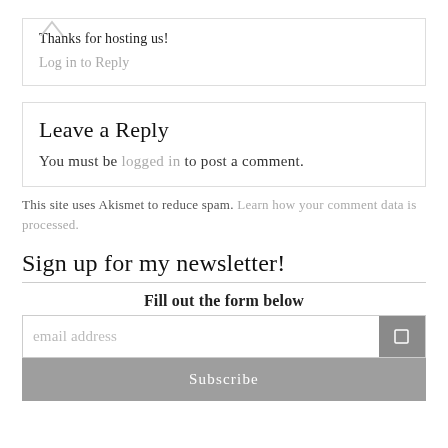Thanks for hosting us!
Log in to Reply
Leave a Reply
You must be logged in to post a comment.
This site uses Akismet to reduce spam. Learn how your comment data is processed.
Sign up for my newsletter!
Fill out the form below
email address
Subscribe